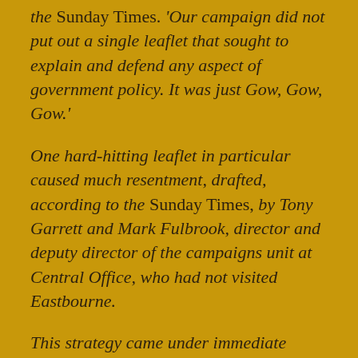the Sunday Times. 'Our campaign did not put out a single leaflet that sought to explain and defend any aspect of government policy. It was just Gow, Gow, Gow.'
One hard-hitting leaflet in particular caused much resentment, drafted, according to the Sunday Times, by Tony Garrett and Mark Fulbrook, director and deputy director of the campaigns unit at Central Office, who had not visited Eastbourne.
This strategy came under immediate scrutiny once the results were in. The Times quoted Norman Miscampbell, Conservative MP for Blackpool North: 'I cannot believe that running a campaign largely based on asking people to vote out of